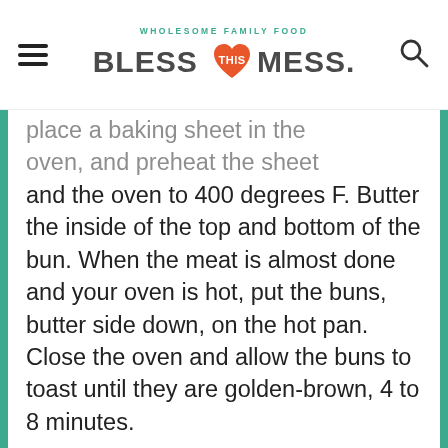WHOLESOME FAMILY FOOD — BLESS THIS MESS.
place a baking sheet in the oven, and preheat the sheet and the oven to 400 degrees F. Butter the inside of the top and bottom of the bun. When the meat is almost done and your oven is hot, put the buns, butter side down, on the hot pan. Close the oven and allow the buns to toast until they are golden-brown, 4 to 8 minutes.
6 When the buns are golden on